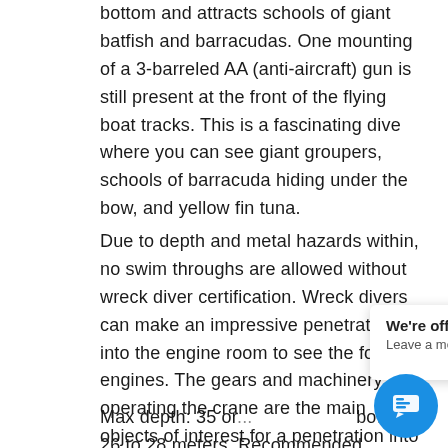bottom and attracts schools of giant batfish and barracudas. One mounting of a 3-barreled AA (anti-aircraft) gun is still present at the front of the flying boat tracks. This is a fascinating dive where you can see giant groupers, schools of barracuda hiding under the bow, and yellow fin tuna.
Due to depth and metal hazards within, no swim throughs are allowed without wreck diver certification. Wreck divers can make an impressive penetration into the engine room to see the four engines. The gears and machinery for operating the crane are the main objects of interest for a penetration into the stern.
Max depth: 35 or... bo... 26 to 28 meters. Recommended certification
[Figure (screenshot): Chat popup overlay showing 'We're offline / Leave a message' with a blue circular chat button icon in the bottom right corner]